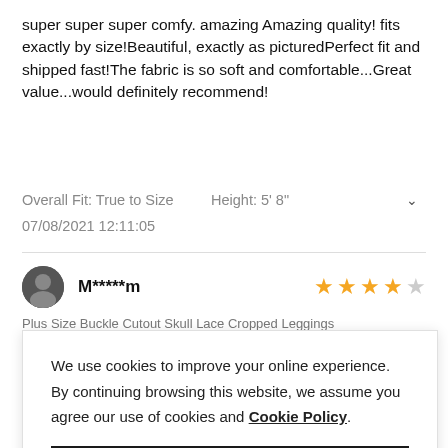super super super comfy. amazing Amazing quality! fits exactly by size!Beautiful, exactly as picturedPerfect fit and shipped fast!The fabric is so soft and comfortable...Great value...would definitely recommend!
Overall Fit: True to Size    Height: 5' 8"
07/08/2021 12:11:05
M*****m
Plus Size Buckle Cutout Skull Lace Cropped Leggings
We use cookies to improve your online experience. By continuing browsing this website, we assume you agree our use of cookies and Cookie Policy.
Agree